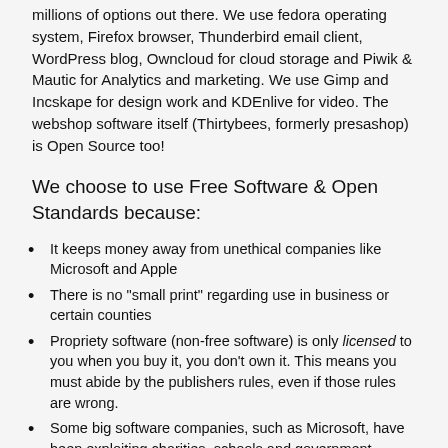millions of options out there. We use fedora operating system, Firefox browser, Thunderbird email client, WordPress blog, Owncloud for cloud storage and Piwik & Mautic for Analytics and marketing. We use Gimp and Incskape for design work and KDEnlive for video. The webshop software itself (Thirtybees, formerly presashop) is Open Source too!
We choose to use Free Software & Open Standards because:
It keeps money away from unethical companies like Microsoft and Apple
There is no "small print" regarding use in business or certain counties
Propriety software (non-free software) is only licensed to you when you buy it, you don't own it. This means you must abide by the publishers rules, even if those rules are wrong.
Some big software companies, such as Microsoft, have been exploiting charities, schools and government institutions for years: free copies to start with, and then you have to pay or lose everything! They have also done a lot of damage to our Tech education in the UK. Now we have Raspberry Pi to the rescue (also open source!!)
It's MUCH more sustainable - you can keep old computers in use